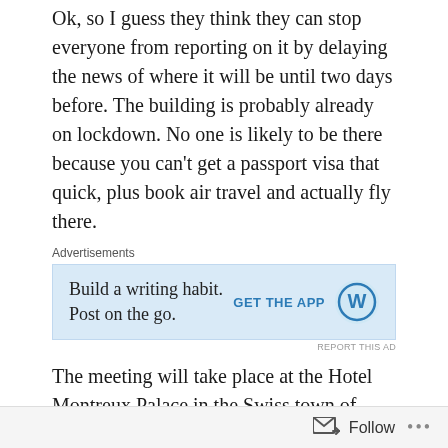Ok, so I guess they think they can stop everyone from reporting on it by delaying the news of where it will be until two days before. The building is probably already on lockdown. No one is likely to be there because you can't get a passport visa that quick, plus book air travel and actually fly there.
[Figure (screenshot): WordPress advertisement banner with text 'Build a writing habit. Post on the go.' and 'GET THE APP' button with WordPress logo]
The meeting will take place at the Hotel Montreux Palace in the Swiss town of Montreux from Thursday to Sunday. They are faking “openness” by simply announcing it so late that no one can get there, but early enough to make it look like they are not hiding anything. The Swiss media report is
Follow ...